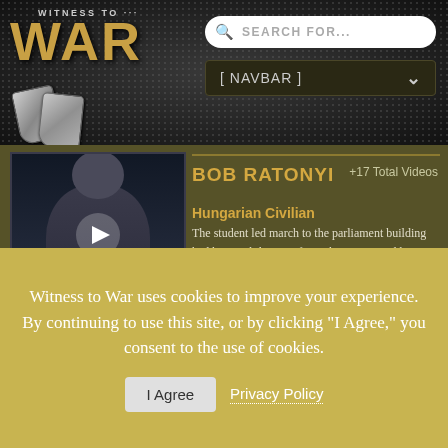Witness to WAR — [NAVBAR] — SEARCH FOR...
[Figure (photo): Elderly man seated, speaking on camera, dark background. Play button overlay visible.]
BOB RATONYI
+17 Total Videos
Hungarian Civilian
The student led march to the parliament building had been exhilarating for Bob Ratonyi and he got up the next morning to go to his classes but there were no streetcars running. Then he saw two dead Russian soldiers in their vehicle. The peaceful march had turned into the bloody
Witness to War uses cookies to improve your experience. By continuing to use this site, or by clicking "I Agree," you consent to the use of cookies.
I Agree   Privacy Policy